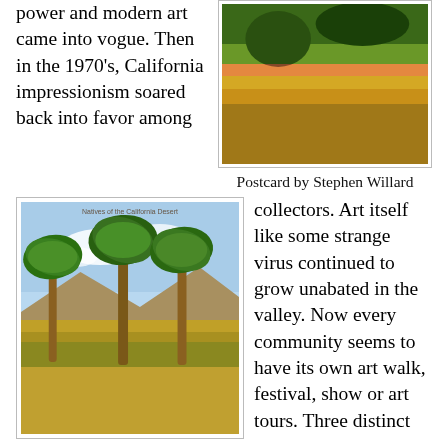power and modern art came into vogue. Then in the 1970's, California impressionism soared back into favor among
[Figure (photo): Colorful desert wildflower field with hills and trees in background, vintage postcard style]
Postcard by Stephen Willard
[Figure (photo): Vintage postcard showing three tall palm trees in the California desert with hills in background. Text reads: Natives of the California Desert]
Stephen Willard postcard
collectors. Art itself like some strange virus continued to grow unabated in the valley. Now every community seems to have its own art walk, festival, show or art tours. Three distinct areas have slowly morphed into showcases for some of the most popular artists in the valley.
areas have slowly morphed into showcases for some of the most popular artists in the valley.
[Figure (photo): Partial view of another vintage postcard showing palm trees]